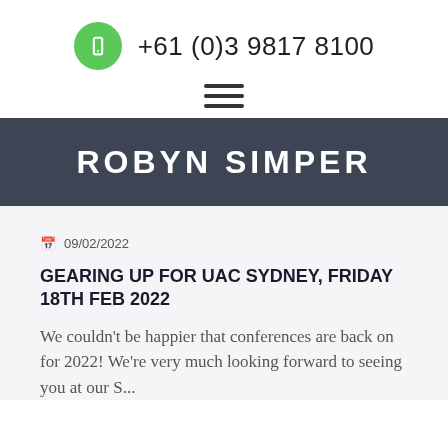+61 (0)3 9817 8100
ROBYN SIMPER
09/02/2022
GEARING UP FOR UAC SYDNEY, FRIDAY 18TH FEB 2022
We couldn't be happier that conferences are back on for 2022! We're very much looking forward to seeing you at our...